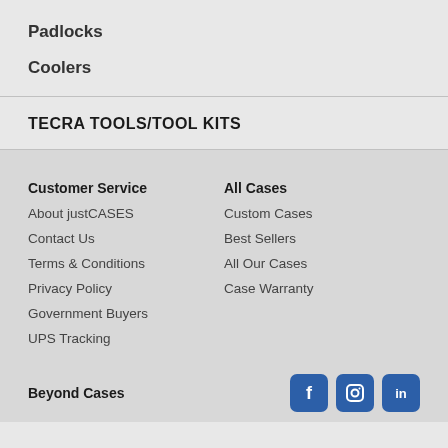Padlocks
Coolers
TECRA TOOLS/TOOL KITS
Customer Service
About justCASES
Contact Us
Terms & Conditions
Privacy Policy
Government Buyers
UPS Tracking
All Cases
Custom Cases
Best Sellers
All Our Cases
Case Warranty
Beyond Cases